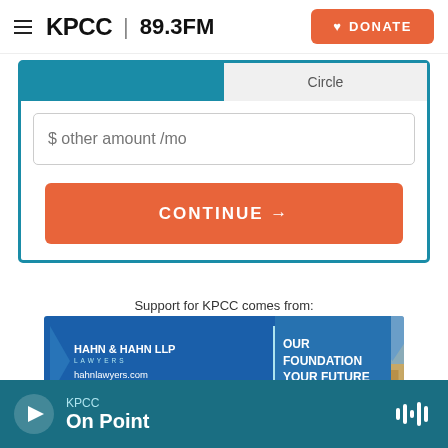KPCC 89.3FM | DONATE
[Figure (screenshot): UI form with teal tab bar (active left tab, Circle right tab), a text input field for '$ other amount /mo', and an orange CONTINUE button]
Support for KPCC comes from:
[Figure (illustration): Hahn & Hahn LLP Lawyers advertisement banner: blue background with firm name, tagline 'OUR FOUNDATION YOUR FUTURE', website hahnlawyers.com, and a photo of a cityscape/mountains on the right]
Become a KPCC Sponsor
KPCC On Point